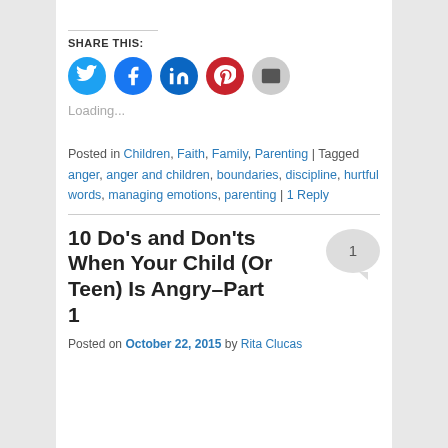SHARE THIS:
[Figure (infographic): Five social sharing icon buttons: Twitter (blue), Facebook (blue), LinkedIn (dark blue), Pinterest (red), Email (gray)]
Loading...
Posted in Children, Faith, Family, Parenting | Tagged anger, anger and children, boundaries, discipline, hurtful words, managing emotions, parenting | 1 Reply
10 Do’s and Don’ts When Your Child (Or Teen) Is Angry–Part 1
[Figure (infographic): Gray speech bubble with the number 1 inside]
Posted on October 22, 2015 by Rita Clucas